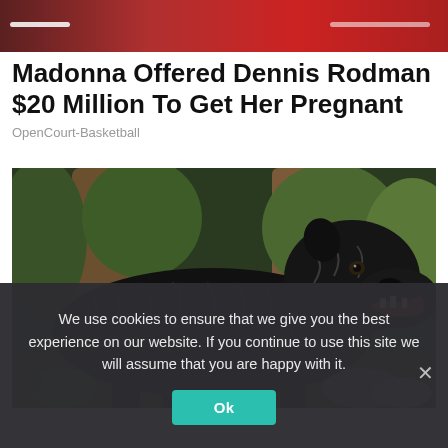[Figure (photo): Website header image bar with red/dark background and white progress/slider indicators]
Madonna Offered Dennis Rodman $20 Million To Get Her Pregnant
OpenCourt-Basketball
[Figure (photo): Large black Cane Corso dog with brindle markings, mouth open, photographed outdoors among trees and greenery]
We use cookies to ensure that we give you the best experience on our website. If you continue to use this site we will assume that you are happy with it.